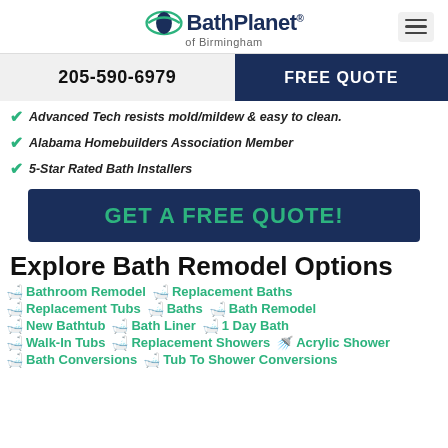[Figure (logo): Bath Planet of Birmingham logo with green swoosh icon and dark navy text]
205-590-6979
FREE QUOTE
Advanced Tech resists mold/mildew & easy to clean.
Alabama Homebuilders Association Member
5-Star Rated Bath Installers
GET A FREE QUOTE!
Explore Bath Remodel Options
Bathroom Remodel
Replacement Baths
Replacement Tubs
Baths
Bath Remodel
New Bathtub
Bath Liner
1 Day Bath
Walk-In Tubs
Replacement Showers
Acrylic Shower
Bath Conversions
Tub To Shower Conversions